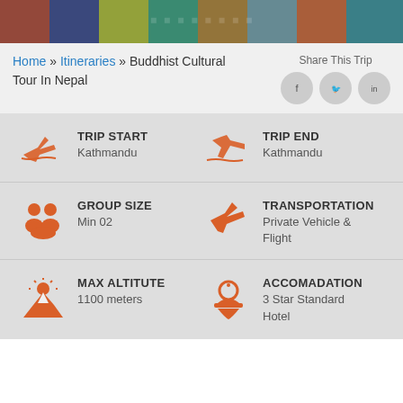[Figure (photo): Colorful prayer flags and foliage in background banner photo]
Home » Itineraries » Buddhist Cultural Tour In Nepal
Share This Trip
TRIP START
Kathmandu
TRIP END
Kathmandu
GROUP SIZE
Min 02
TRANSPORTATION
Private Vehicle & Flight
MAX ALTITUTE
1100 meters
ACCOMADATION
3 Star Standard Hotel